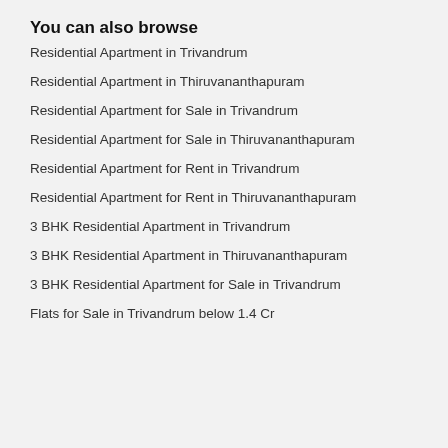You can also browse
Residential Apartment in Trivandrum
Residential Apartment in Thiruvananthapuram
Residential Apartment for Sale in Trivandrum
Residential Apartment for Sale in Thiruvananthapuram
Residential Apartment for Rent in Trivandrum
Residential Apartment for Rent in Thiruvananthapuram
3 BHK Residential Apartment in Trivandrum
3 BHK Residential Apartment in Thiruvananthapuram
3 BHK Residential Apartment for Sale in Trivandrum
Flats for Sale in Trivandrum below 1.4 Cr